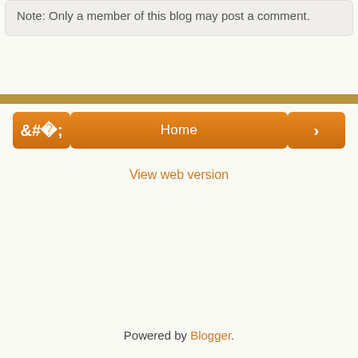Note: Only a member of this blog may post a comment.
< Home >
View web version
Powered by Blogger.